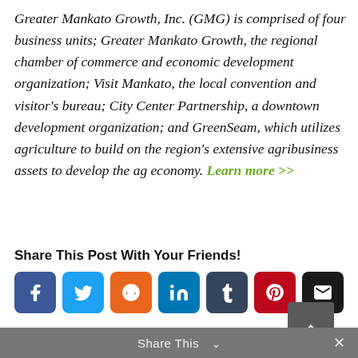Greater Mankato Growth, Inc. (GMG) is comprised of four business units; Greater Mankato Growth, the regional chamber of commerce and economic development organization; Visit Mankato, the local convention and visitor's bureau; City Center Partnership, a downtown development organization; and GreenSeam, which utilizes agriculture to build on the region's extensive agribusiness assets to develop the ag economy. Learn more >>
Share This Post With Your Friends!
[Figure (infographic): Row of seven social media share buttons: Facebook (blue), Twitter (light blue), Reddit (orange), LinkedIn (teal), Tumblr (dark navy), Pinterest (dark red), Email (black)]
Share This  ∨  ×
About the Author: Ashley Henley